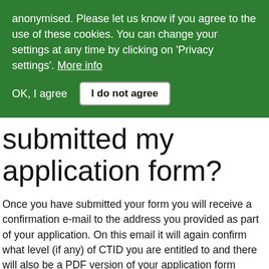anonymised. Please let us know if you agree to the use of these cookies. You can change your settings at any time by clicking on 'Privacy settings'. More info
OK, I agree   I do not agree
submitted my application form?
Once you have submitted your form you will receive a confirmation e-mail to the address you provided as part of your application. On this email it will again confirm what level (if any) of CTID you are entitled to and there will also be a PDF version of your application form attached, for you to keep for your records.
A copy of you application will also be e-mailed to the Revenues Department to be processed by one of our Revenues Officers.